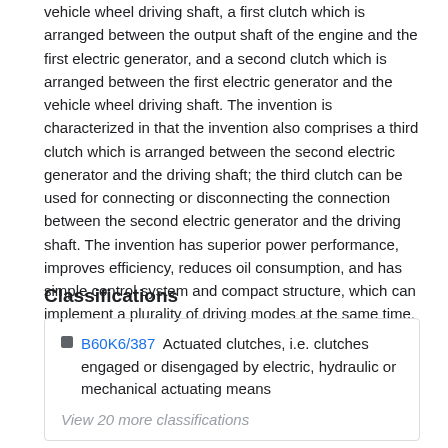vehicle wheel driving shaft, a first clutch which is arranged between the output shaft of the engine and the first electric generator, and a second clutch which is arranged between the first electric generator and the vehicle wheel driving shaft. The invention is characterized in that the invention also comprises a third clutch which is arranged between the second electric generator and the driving shaft; the third clutch can be used for connecting or disconnecting the connection between the second electric generator and the driving shaft. The invention has superior power performance, improves efficiency, reduces oil consumption, and has simple control system and compact structure, which can implement a plurality of driving modes at the same time.
Classifications
B60K6/387  Actuated clutches, i.e. clutches engaged or disengaged by electric, hydraulic or mechanical actuating means
View 20 more classifications